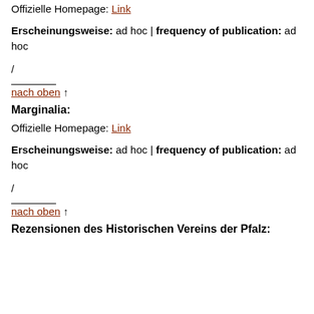Offizielle Homepage: Link
Erscheinungsweise: ad hoc | frequency of publication: ad hoc
/
nach oben ↑
Marginalia:
Offizielle Homepage: Link
Erscheinungsweise: ad hoc | frequency of publication: ad hoc
/
nach oben ↑
Rezensionen des Historischen Vereins der Pfalz: